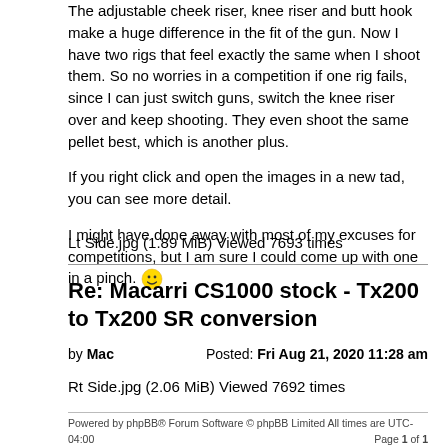The adjustable cheek riser, knee riser and butt hook make a huge difference in the fit of the gun. Now I have two rigs that feel exactly the same when I shoot them. So no worries in a competition if one rig fails, since I can just switch guns, switch the knee riser over and keep shooting. They even shoot the same pellet best, which is another plus.

If you right click and open the images in a new tad, you can see more detail.

I might have done away with most of my excuses for competitions, but I am sure I could come up with one in a pinch. 😄
Lt Side.jpg (1.89 MiB) Viewed 7693 times
Re: Macarri CS1000 stock - Tx200 to Tx200 SR conversion
by Mac   Posted: Fri Aug 21, 2020 11:28 am
Rt Side.jpg (2.06 MiB) Viewed 7692 times
Powered by phpBB® Forum Software © phpBB Limited All times are UTC-04:00
https://www.phpbb.com/   Page 1 of 1